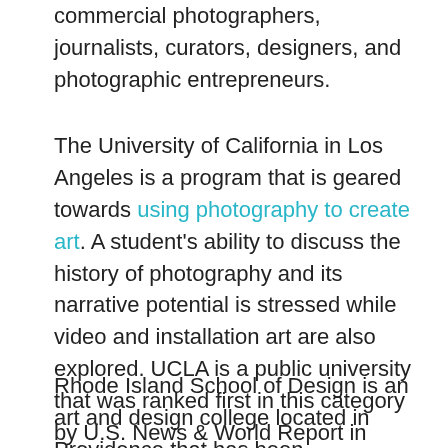commercial photographers, journalists, curators, designers, and photographic entrepreneurs.
The University of California in Los Angeles is a program that is geared towards using photography to create art. A student's ability to discuss the history of photography and its narrative potential is stressed while video and installation art are also explored. UCLA is a public university that was ranked first in this category by U.S. News & World Report in 2018.
Rhode Island School of Design is an art and design college located in Providence that has been consistently